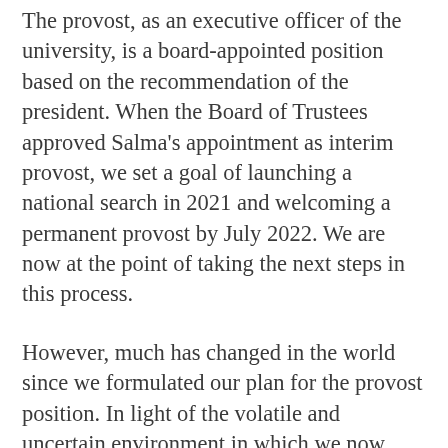The provost, as an executive officer of the university, is a board-appointed position based on the recommendation of the president. When the Board of Trustees approved Salma's appointment as interim provost, we set a goal of launching a national search in 2021 and welcoming a permanent provost by July 2022. We are now at the point of taking the next steps in this process.
However, much has changed in the world since we formulated our plan for the provost position. In light of the volatile and uncertain environment in which we now operate, and with the support of the Board of Trustees, I have asked that a committee of faculty, staff, a student and board members be convened to conduct an exhaustive formal review